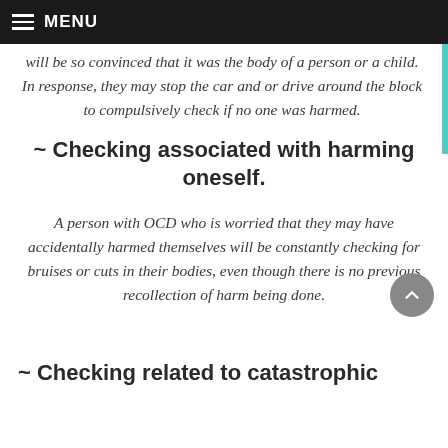MENU
will be so convinced that it was the body of a person or a child. In response, they may stop the car and or drive around the block to compulsively check if no one was harmed.
~ Checking associated with harming oneself.
A person with OCD who is worried that they may have accidentally harmed themselves will be constantly checking for bruises or cuts in their bodies, even though there is no previous recollection of harm being done.
~ Checking related to catastrophic